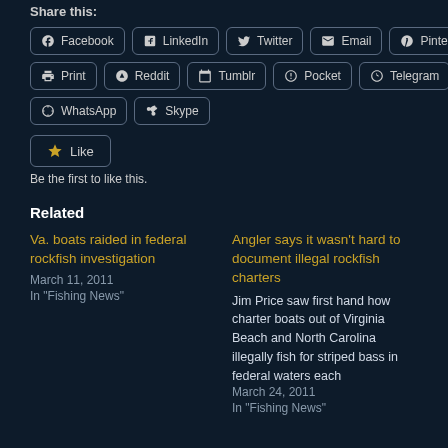Share this:
Facebook
LinkedIn
Twitter
Email
Pinterest
Print
Reddit
Tumblr
Pocket
Telegram
WhatsApp
Skype
Be the first to like this.
Related
Va. boats raided in federal rockfish investigation
March 11, 2011
In "Fishing News"
Angler says it wasn’t hard to document illegal rockfish charters
Jim Price saw first hand how charter boats out of Virginia Beach and North Carolina illegally fish for striped bass in federal waters each
March 24, 2011
In "Fishing News"